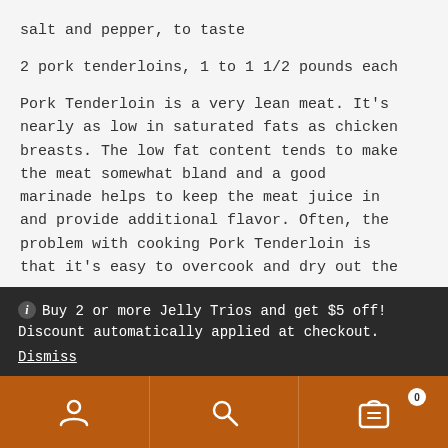salt and pepper, to taste
2 pork tenderloins, 1 to 1 1/2 pounds each
Pork Tenderloin is a very lean meat. It’s nearly as low in saturated fats as chicken breasts. The low fat content tends to make the meat somewhat bland and a good marinade helps to keep the meat juice in and provide additional flavor. Often, the problem with cooking Pork Tenderloin is that it’s easy to overcook and dry out the
Buy 2 or more Jelly Trios and get $5 off! Discount automatically applied at checkout. Dismiss
the tenderloin off the grill when the